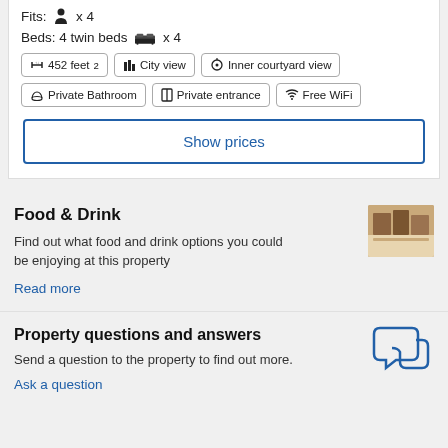Fits: person x 4
Beds: 4 twin beds bed-icon x 4
452 feet² | City view | Inner courtyard view | Private Bathroom | Private entrance | Free WiFi
Show prices
Food & Drink
Find out what food and drink options you could be enjoying at this property
Read more
Property questions and answers
Send a question to the property to find out more.
Ask a question